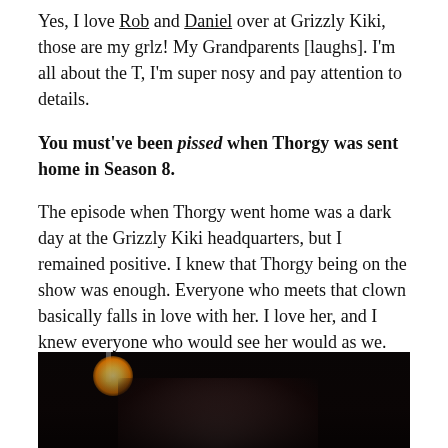Yes, I love Rob and Daniel over at Grizzly Kiki, those are my grlz! My Grandparents [laughs]. I'm all about the T, I'm super nosy and pay attention to details.
You must've been pissed when Thorgy was sent home in Season 8.
The episode when Thorgy went home was a dark day at the Grizzly Kiki headquarters, but I remained positive. I knew that Thorgy being on the show was enough. Everyone who meets that clown basically falls in love with her. I love her, and I knew everyone who would see her would as we. Bitch is booked and she's loving it!
[Figure (photo): Night-time photo showing a bright glowing light source (street lamp or spotlight) at top left, with a figure with voluminous curly hair visible at the bottom center against a dark background.]